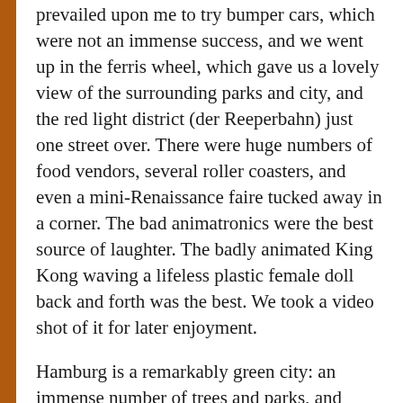prevailed upon me to try bumper cars, which were not an immense success, and we went up in the ferris wheel, which gave us a lovely view of the surrounding parks and city, and the red light district (der Reeperbahn) just one street over. There were huge numbers of food vendors, several roller coasters, and even a mini-Renaissance faire tucked away in a corner. The bad animatronics were the best source of laughter. The badly animated King Kong waving a lifeless plastic female doll back and forth was the best. We took a video shot of it for later enjoyment.
Hamburg is a remarkably green city: an immense number of trees and parks, and unlike New York, they’re scattered throughout the city. There are trees almost everywhere. In unrelated praise, Hamburg’s trains are extremely well planned. They run perfectly on time, generally every ten minutes and